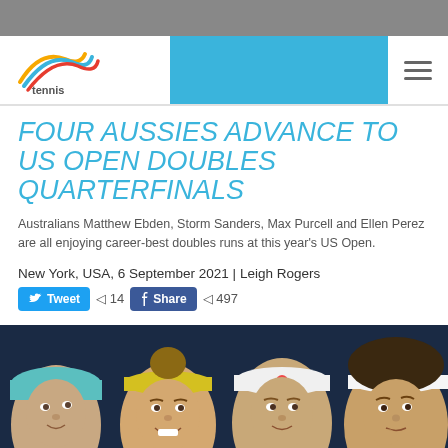tennis Australia logo header
FOUR AUSSIES ADVANCE TO US OPEN DOUBLES QUARTERFINALS
Australians Matthew Ebden, Storm Sanders, Max Purcell and Ellen Perez are all enjoying career-best doubles runs at this year's US Open.
New York, USA, 6 September 2021 | Leigh Rogers
Tweet 14  Share 497
[Figure (photo): Four Australian tennis players (Matthew Ebden, Storm Sanders, Max Purcell, Ellen Perez) shown from shoulders up against a dark blue background, all wearing hats/visors.]